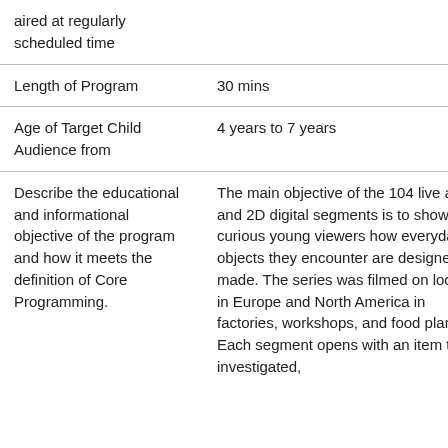| aired at regularly scheduled time |  |
| Length of Program | 30 mins |
| Age of Target Child Audience from | 4 years to 7 years |
| Describe the educational and informational objective of the program and how it meets the definition of Core Programming. | The main objective of the 104 live action and 2D digital segments is to show curious young viewers how everyday objects they encounter are designed and made. The series was filmed on location in Europe and North America in factories, workshops, and food plants. Each segment opens with an item to be investigated, |